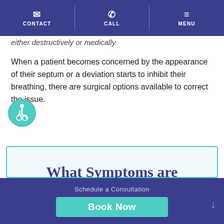CONTACT | CALL | MENU
either destructively or medically.
When a patient becomes concerned by the appearance of their septum or a deviation starts to inhibit their breathing, there are surgical options available to correct the issue.
[Figure (illustration): Accessibility icon — person in wheelchair in teal circle]
What Symptoms are Associated with
Schedule a Consultation
Book Now